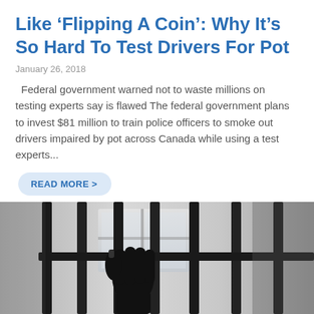Like ‘Flipping A Coin’: Why It’s So Hard To Test Drivers For Pot
January 26, 2018
Federal government warned not to waste millions on testing experts say is flawed The federal government plans to invest $81 million to train police officers to smoke out drivers impaired by pot across Canada while using a test experts...
READ MORE >
[Figure (photo): Black and white photo of a hand gripping metal bars, resembling prison bars, with a blurred window visible in the background.]